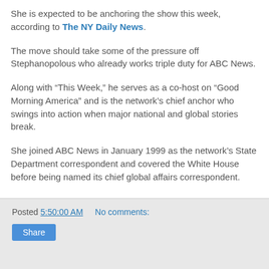She is expected to be anchoring the show this week, according to The NY Daily News.
The move should take some of the pressure off Stephanopolous who already works triple duty for ABC News.
Along with “This Week,” he serves as a co-host on “Good Morning America” and is the network’s chief anchor who swings into action when major national and global stories break.
She joined ABC News in January 1999 as the network’s State Department correspondent and covered the White House before being named its chief global affairs correspondent.
Posted 5:50:00 AM   No comments:   Share